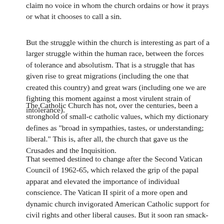claim no voice in whom the church ordains or how it prays or what it chooses to call a sin.
But the struggle within the church is interesting as part of a larger struggle within the human race, between the forces of tolerance and absolutism. That is a struggle that has given rise to great migrations (including the one that created this country) and great wars (including one we are fighting this moment against a most virulent strain of intolerance).
The Catholic Church has not, over the centuries, been a stronghold of small-c catholic values, which my dictionary defines as "broad in sympathies, tastes, or understanding; liberal." This is, after all, the church that gave us the Crusades and the Inquisition.
That seemed destined to change after the Second Vatican Council of 1962-65, which relaxed the grip of the papal apparat and elevated the importance of individual conscience. The Vatican II spirit of a more open and dynamic church invigorated American Catholic support for civil rights and other liberal causes. But it soon ran smack-dab into the sexual revolution.
Probably no institution run by a fraternity of aging celibates was going to reconcile easily with a movement that embraced the